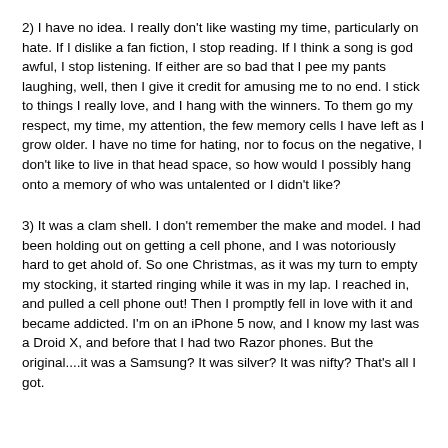2) I have no idea. I really don't like wasting my time, particularly on hate. If I dislike a fan fiction, I stop reading. If I think a song is god awful, I stop listening. If either are so bad that I pee my pants laughing, well, then I give it credit for amusing me to no end. I stick to things I really love, and I hang with the winners. To them go my respect, my time, my attention, the few memory cells I have left as I grow older. I have no time for hating, nor to focus on the negative, I don't like to live in that head space, so how would I possibly hang onto a memory of who was untalented or I didn't like?
3) It was a clam shell. I don't remember the make and model. I had been holding out on getting a cell phone, and I was notoriously hard to get ahold of. So one Christmas, as it was my turn to empty my stocking, it started ringing while it was in my lap. I reached in, and pulled a cell phone out! Then I promptly fell in love with it and became addicted. I'm on an iPhone 5 now, and I know my last was a Droid X, and before that I had two Razor phones. But the original....it was a Samsung? It was silver? It was nifty? That's all I got.